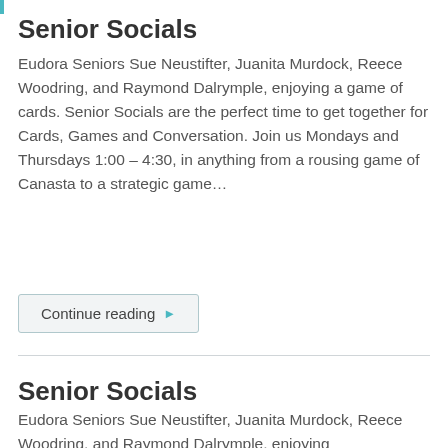Senior Socials
Eudora Seniors Sue Neustifter, Juanita Murdock, Reece Woodring, and Raymond Dalrymple, enjoying a game of cards. Senior Socials are the perfect time to get together for Cards, Games and Conversation. Join us Mondays and Thursdays 1:00 – 4:30, in anything from a rousing game of Canasta to a strategic game…
Continue reading ▶
Senior Socials
Eudora Seniors Sue Neustifter, Juanita Murdock, Reece Woodring, and Raymond Dalrymple, enjoying